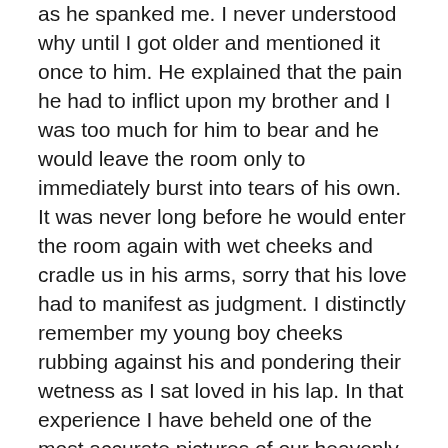as he spanked me. I never understood why until I got older and mentioned it once to him. He explained that the pain he had to inflict upon my brother and I was too much for him to bear and he would leave the room only to immediately burst into tears of his own. It was never long before he would enter the room again with wet cheeks and cradle us in his arms, sorry that his love had to manifest as judgment. I distinctly remember my young boy cheeks rubbing against his and pondering their wetness as I sat loved in his lap. In that experience I have beheld one of the most accurate pictures of our heavenly Father and I still marvel today at the revelation it holds. (My prayer for you dad is that as you read this you would be able to finally let your own dam burst and be drowned there in the waters of your heavenly Father's love.)
To take the liberty of this example and look upon the